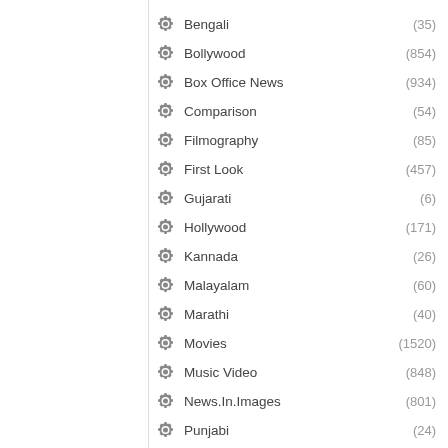Bengali (35)
Bollywood (854)
Box Office News (934)
Comparison (54)
Filmography (85)
First Look (457)
Gujarati (6)
Hollywood (171)
Kannada (26)
Malayalam (60)
Marathi (40)
Movies (1520)
Music Video (848)
News.In.Images (801)
Punjabi (24)